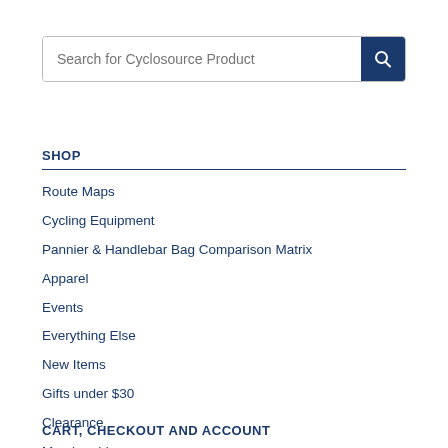Search for Cyclosource Product
SHOP
Route Maps
Cycling Equipment
Pannier & Handlebar Bag Comparison Matrix
Apparel
Events
Everything Else
New Items
Gifts under $30
Clearance
Membership
Brands
CART, CHECKOUT AND ACCOUNT